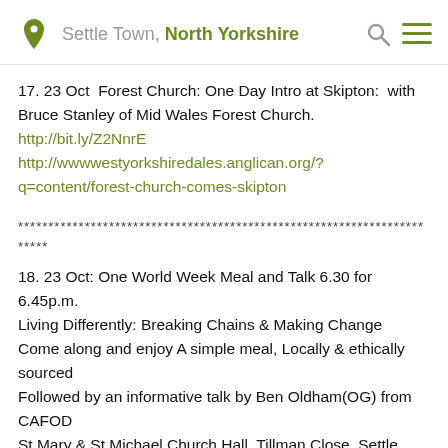Settle Town, North Yorkshire
17. 23 Oct  Forest Church: One Day Intro at Skipton:  with Bruce Stanley of Mid Wales Forest Church.
http://bit.ly/Z2NnrE
http://wwwwestyorkshiredales.anglican.org/?q=content/forest-church-comes-skipton
18. 23 Oct: One World Week Meal and Talk 6.30 for 6.45p.m.
Living Differently: Breaking Chains & Making Change
Come along and enjoy A simple meal, Locally & ethically sourced
Followed by an informative talk by Ben Oldham(OG) from CAFOD
St Mary & St Michael Church Hall, Tillman Close, Settle